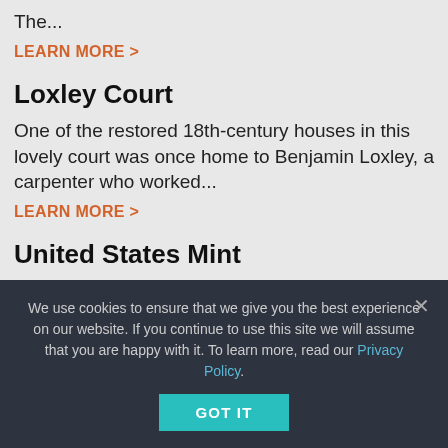The...
LEARN MORE >
Loxley Court
One of the restored 18th-century houses in this lovely court was once home to Benjamin Loxley, a carpenter who worked...
LEARN MORE >
United States Mint
The first U.S. mint was built in Philadelphia at 16th and Spring Garden streets in 1792, when the Bank of...
LEARN MORE >
Carpenters' Hall
This handsome, patterned red-and-black brick building dating from
We use cookies to ensure that we give you the best experience on our website. If you continue to use this site we will assume that you are happy with it. To learn more, read our Privacy Policy.
GOT IT